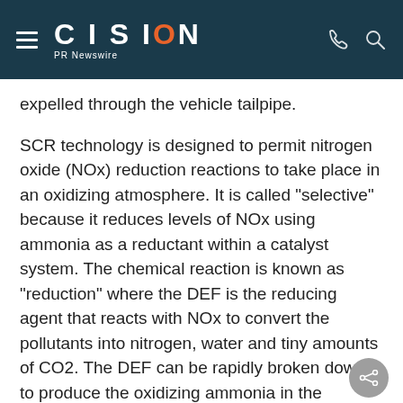CISION PR Newswire
expelled through the vehicle tailpipe.
SCR technology is designed to permit nitrogen oxide (NOx) reduction reactions to take place in an oxidizing atmosphere. It is called "selective" because it reduces levels of NOx using ammonia as a reductant within a catalyst system. The chemical reaction is known as "reduction" where the DEF is the reducing agent that reacts with NOx to convert the pollutants into nitrogen, water and tiny amounts of CO2. The DEF can be rapidly broken down to produce the oxidizing ammonia in the exhaust stream. SCR technology alone can achieve NOx reductions up...